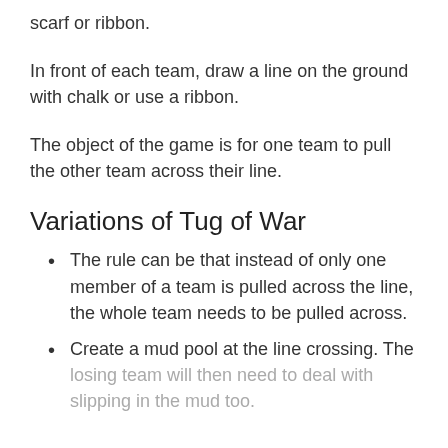scarf or ribbon.
In front of each team, draw a line on the ground with chalk or use a ribbon.
The object of the game is for one team to pull the other team across their line.
Variations of Tug of War
The rule can be that instead of only one member of a team is pulled across the line, the whole team needs to be pulled across.
Create a mud pool at the line crossing. The losing team will then need to deal with slipping in the mud too.